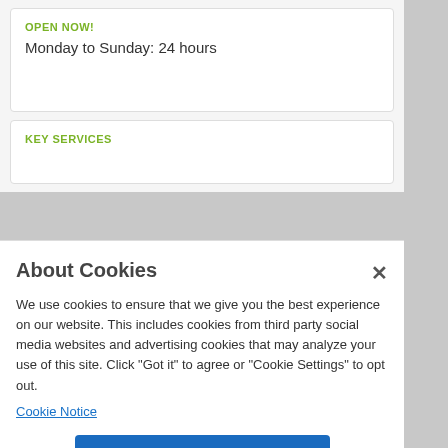OPEN NOW!
Monday to Sunday: 24 hours
KEY SERVICES
About Cookies
We use cookies to ensure that we give you the best experience on our website. This includes cookies from third party social media websites and advertising cookies that may analyze your use of this site. Click "Got it" to agree or "Cookie Settings" to opt out.
Cookie Notice
Got It
Cookies Settings